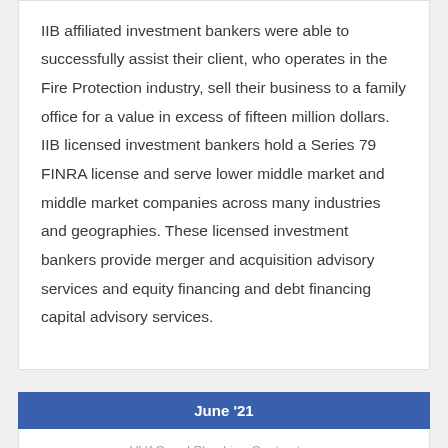IIB affiliated investment bankers were able to successfully assist their client, who operates in the Fire Protection industry, sell their business to a family office for a value in excess of fifteen million dollars.  IIB licensed investment bankers hold a Series 79 FINRA license and serve lower middle market and middle market companies across many industries and geographies.  These licensed investment bankers provide merger and acquisition advisory services and equity financing and debt financing capital advisory services.
June '21
HVAC and Plumbing Contractors
Mergers and Acquisitions